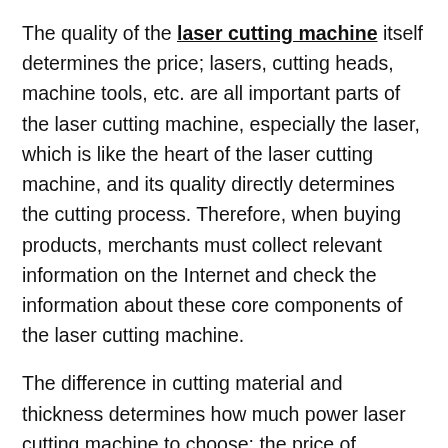The quality of the laser cutting machine itself determines the price; lasers, cutting heads, machine tools, etc. are all important parts of the laser cutting machine, especially the laser, which is like the heart of the laser cutting machine, and its quality directly determines the cutting process. Therefore, when buying products, merchants must collect relevant information on the Internet and check the information about these core components of the laser cutting machine.
The difference in cutting material and thickness determines how much power laser cutting machine to choose; the price of choosing different power laser cutting machine is also different. The 500W laser cutting machine can cut stainless steel